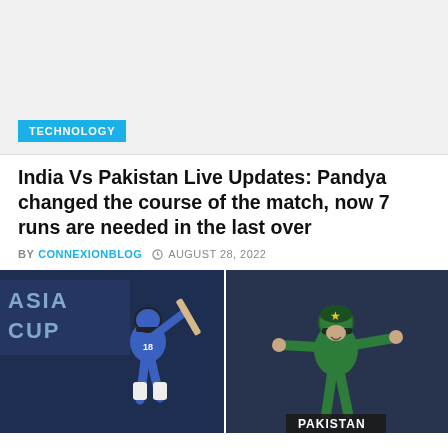[Figure (photo): Gray advertisement placeholder area with TECHNOLOGY category badge in blue at bottom left]
India Vs Pakistan Live Updates: Pandya changed the course of the match, now 7 runs are needed in the last over
BY CONNEXIONBLOG  © AUGUST 28, 2022
[Figure (photo): Split image: left side shows India cricket batsman in blue jersey swinging bat with Asia Cup signage background; right side shows Pakistan cricketer in green jersey celebrating with arms outstretched, Pakistan text visible at bottom]